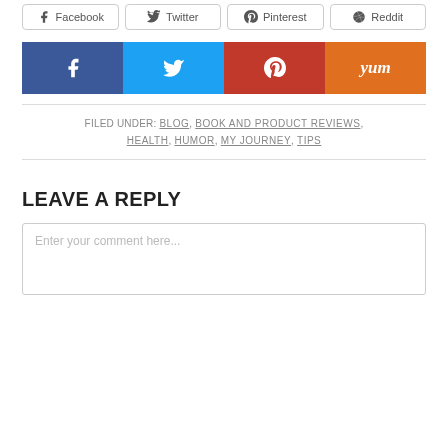[Figure (other): Social share buttons row 1: Facebook, Twitter, Pinterest, Reddit (outline style with icons)]
[Figure (other): Social share buttons row 2: Facebook (dark blue), Twitter (light blue), Pinterest (red), Yummly (orange) solid color icon buttons]
FILED UNDER: BLOG, BOOK AND PRODUCT REVIEWS, HEALTH, HUMOR, MY JOURNEY, TIPS
LEAVE A REPLY
Enter your comment here...